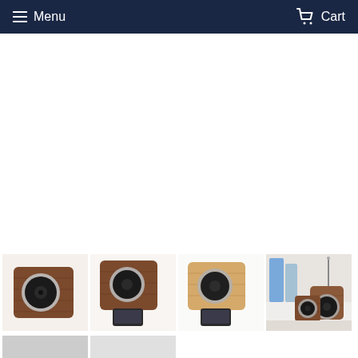Menu  Cart
[Figure (photo): Four thumbnail images of wooden Bluetooth speaker: first showing dark walnut speaker alone, second showing dark walnut speaker with phone, third showing light wood speaker with phone, fourth showing two speakers side by side with decorative items]
[Figure (photo): Partial bottom strip showing additional product thumbnail images cut off at bottom of page]